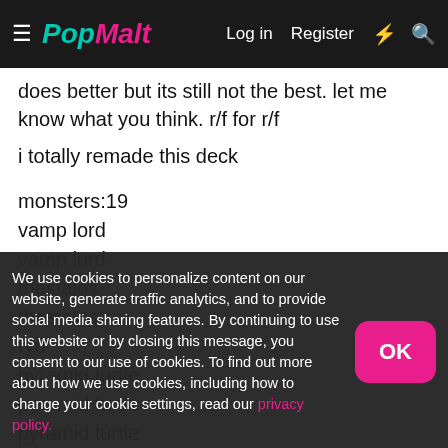PopMalt | Log in | Register
does better but its still not the best. let me know what you think. r/f for r/f
i totally remade this deck
monsters:19
vamp lord
vamp lord
thestalos
thestalos
ryu
pyramid turtle
pyramid turtle
pyramid turtle
reaper
reAPER
des lacooda
We use cookies to personalize content on our website, generate traffic analytics, and to provide social media sharing features. By continuing to use this website or by closing this message, you consent to our use of cookies. To find out more about how we use cookies, including how to change your cookie settings, read our privacy policy.